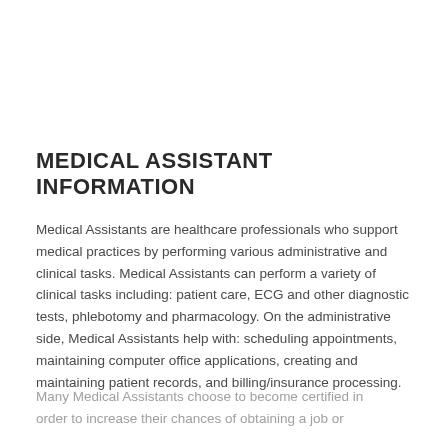MEDICAL ASSISTANT INFORMATION
Medical Assistants are healthcare professionals who support medical practices by performing various administrative and clinical tasks. Medical Assistants can perform a variety of clinical tasks including: patient care, ECG and other diagnostic tests, phlebotomy and pharmacology. On the administrative side, Medical Assistants help with: scheduling appointments, maintaining computer office applications, creating and maintaining patient records, and billing/insurance processing.
Many Medical Assistants choose to become certified in order to increase their chances of obtaining a job or